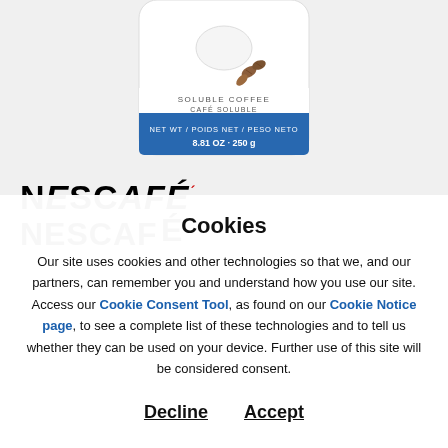[Figure (photo): Nescafé soluble coffee package, white and blue, showing coffee beans and a cup on the label. Text reads: SOLUBLE COFFEE / CAFÉ SOLUBLE / NET WT / POIDS NET / PESO NETO / 8.81 OZ · 250g]
[Figure (logo): NESCAFÉ logo in bold black uppercase letters with a red accent mark above the E]
Cookies
Our site uses cookies and other technologies so that we, and our partners, can remember you and understand how you use our site. Access our Cookie Consent Tool, as found on our Cookie Notice page, to see a complete list of these technologies and to tell us whether they can be used on your device. Further use of this site will be considered consent.
Decline   Accept